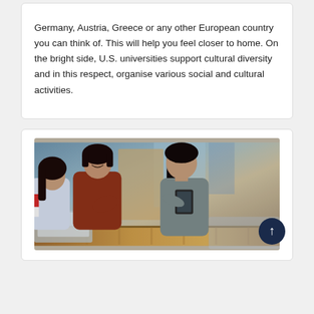Germany, Austria, Greece or any other European country you can think of. This will help you feel closer to home. On the bright side, U.S. universities support cultural diversity and in this respect, organise various social and cultural activities.
[Figure (photo): Three young Asian women sitting together, one holding a tablet, engaged in conversation in a modern indoor setting with a wooden table.]